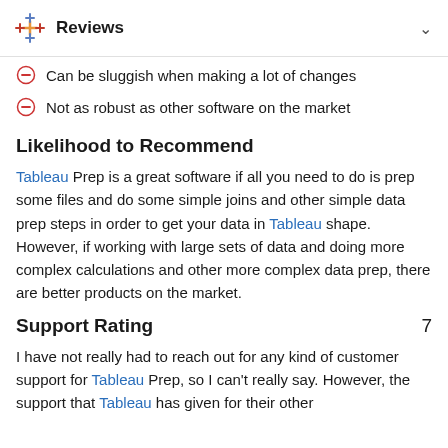Reviews
Can be sluggish when making a lot of changes
Not as robust as other software on the market
Likelihood to Recommend
Tableau Prep is a great software if all you need to do is prep some files and do some simple joins and other simple data prep steps in order to get your data in Tableau shape. However, if working with large sets of data and doing more complex calculations and other more complex data prep, there are better products on the market.
Support Rating
7
I have not really had to reach out for any kind of customer support for Tableau Prep, so I can't really say. However, the support that Tableau has given for their other